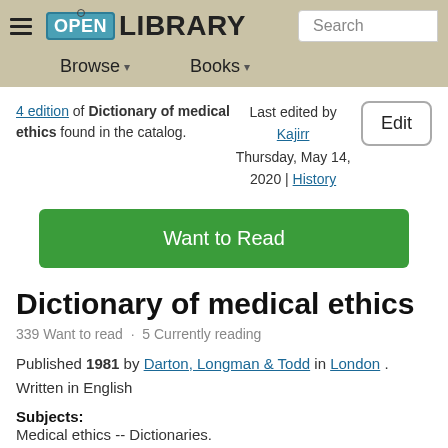[Figure (logo): Open Library logo with hamburger menu and search bar in a beige/tan header]
4 edition of Dictionary of medical ethics found in the catalog.
Last edited by Kajirr Thursday, May 14, 2020 | History
Edit
Want to Read
Dictionary of medical ethics
339 Want to read · 5 Currently reading
Published 1981 by Darton, Longman & Todd in London . Written in English
Subjects: Medical ethics -- Dictionaries.